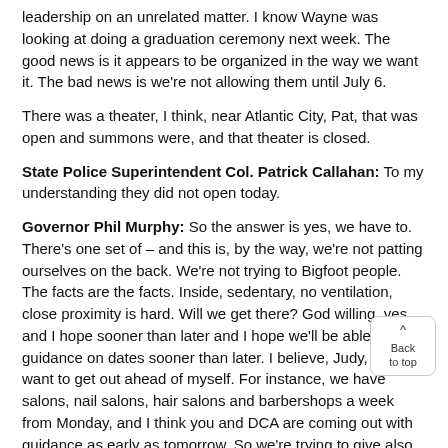leadership on an unrelated matter. I know Wayne was looking at doing a graduation ceremony next week. The good news is it appears to be organized in the way we want it. The bad news is we're not allowing them until July 6.
There was a theater, I think, near Atlantic City, Pat, that was open and summons were, and that theater is closed.
State Police Superintendent Col. Patrick Callahan: To my understanding they did not open today.
Governor Phil Murphy: So the answer is yes, we have to. There's one set of – and this is, by the way, we're not patting ourselves on the back. We're not trying to Bigfoot people. The facts are the facts. Inside, sedentary, no ventilation, close proximity is hard. Will we get there? God willing, yes and I hope sooner than later and I hope we'll be able to give guidance on dates sooner than later. I believe, Judy, I don't want to get out ahead of myself. For instance, we have salons, nail salons, hair salons and barbershops a week from Monday, and I think you and DCA are coming out with guidance as early as tomorrow. So we're trying to give also, put a date out there when we feel we can comfortably do it and then have enough of a runway with the guidance so that folks can get ready. And some of this stuff is complicated. Indoor dining would be high on that list.
But the answer is yes, we will continue to enforce, as evenly can and where we think public health is at risk. And again, w been in touch with -- we're in touch regularly with communities, obviously, but we're in touch with the committee I mentioned and